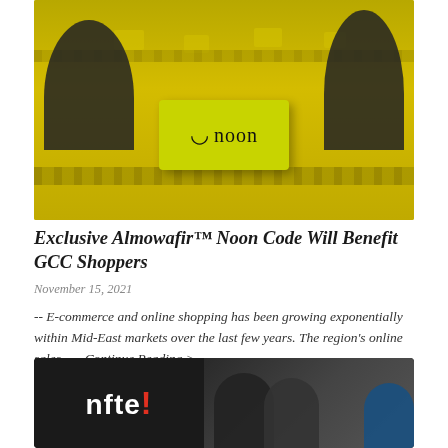[Figure (photo): Warehouse conveyor belt scene with workers in black shirts sorting yellow Noon-branded packages. A bright yellow-green box with the Noon logo (smiley arc icon and the word 'noon') is prominently displayed on the belt.]
Exclusive Almowafir™ Noon Code Will Benefit GCC Shoppers
November 15, 2021
-- E-commerce and online shopping has been growing exponentially within Mid-East markets over the last few years. The region's online sales...... Continue Reading >
[Figure (photo): nfte! logo on dark background on the left half, and three people (two women and one man) looking at a screen on the right half.]